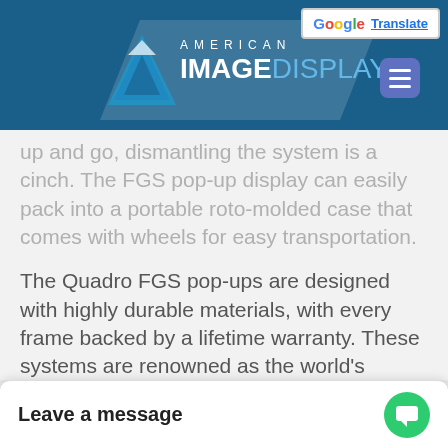American Image Displays
up and go, dismantling the system is a cinch. The FGS pop-up display can easily pack into a portable roto-molded case that comes with wheels for easy transportation.
The Quadro FGS pop-ups are designed with highly durable materials, with every frame backed by a lifetime warranty. These systems are renowned as the world's strongest pop-up frame, yet they are surprisingly lightweight.
The floating graphic pop-up displays come in several configurations